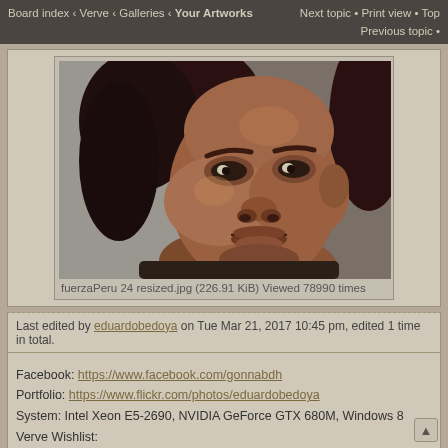Board index · Verve · Galleries · Your Artworks   Next topic · Print view · Top
Previous topic ·
[Figure (illustration): Digital painting portrait of a man with dark reddish-brown hair, intense expression, painted in muted warm tones]
fuerzaPeru 24 resized.jpg (226.91 KiB) Viewed 78990 times
Last edited by eduardobedoya on Tue Mar 21, 2017 10:45 pm, edited 1 time in total.
Facebook: https://www.facebook.com/gonnabdh
Portfolio: https://www.flickr.com/photos/eduardobedoya
System: Intel Xeon E5-2690, NVIDIA GeForce GTX 680M, Windows 8
Verve Wishlist:
- LS/H color pallete
- Brightness Knob
- Pressets(with icons)